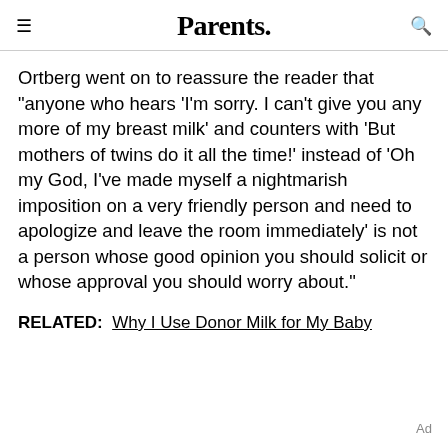Parents.
Ortberg went on to reassure the reader that "anyone who hears 'I'm sorry. I can't give you any more of my breast milk' and counters with 'But mothers of twins do it all the time!' instead of 'Oh my God, I've made myself a nightmarish imposition on a very friendly person and need to apologize and leave the room immediately' is not a person whose good opinion you should solicit or whose approval you should worry about."
RELATED:  Why I Use Donor Milk for My Baby
Ad